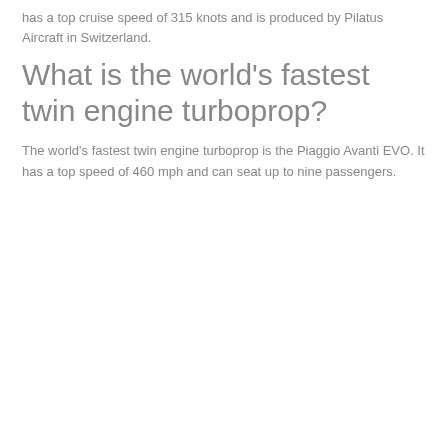has a top cruise speed of 315 knots and is produced by Pilatus Aircraft in Switzerland.
What is the world's fastest twin engine turboprop?
The world's fastest twin engine turboprop is the Piaggio Avanti EVO. It has a top speed of 460 mph and can seat up to nine passengers.